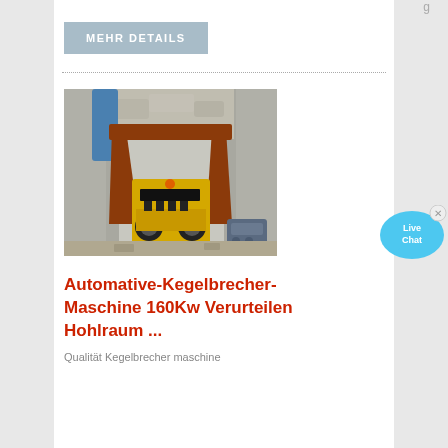g
MEHR DETAILS
[Figure (photo): Industrial jaw crusher machine operating in a stone quarry/mining site, surrounded by rock walls. The machine is yellow with red/brown structural arms, a blue cylinder visible at top left, and an electric motor at bottom right.]
Automative-Kegelbrecher-Maschine 160Kw Verurteilen Hohlraum ...
Qualität Kegelbrecher maschine